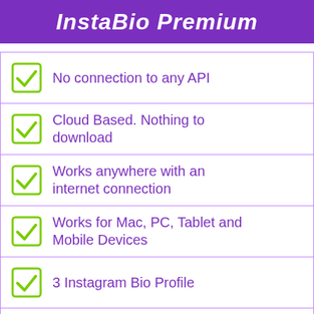InstaBio Premium
No connection to any API
Cloud Based. Nothing to download
Works anywhere with an internet connection
Works for Mac, PC, Tablet and Mobile Devices
3 Instagram Bio Profile
100 branded links of url shortener
Connect 3 custom domain for